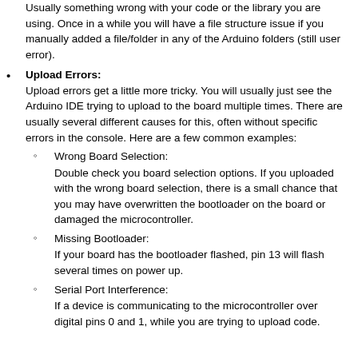Usually something wrong with your code or the library you are using. Once in a while you will have a file structure issue if you manually added a file/folder in any of the Arduino folders (still user error).
Upload Errors: Upload errors get a little more tricky. You will usually just see the Arduino IDE trying to upload to the board multiple times. There are usually several different causes for this, often without specific errors in the console. Here are a few common examples:
Wrong Board Selection: Double check you board selection options. If you uploaded with the wrong board selection, there is a small chance that you may have overwritten the bootloader on the board or damaged the microcontroller.
Missing Bootloader: If your board has the bootloader flashed, pin 13 will flash several times on power up.
Serial Port Interference: If a device is communicating to the microcontroller over digital pins 0 and 1, while you are trying to upload code.